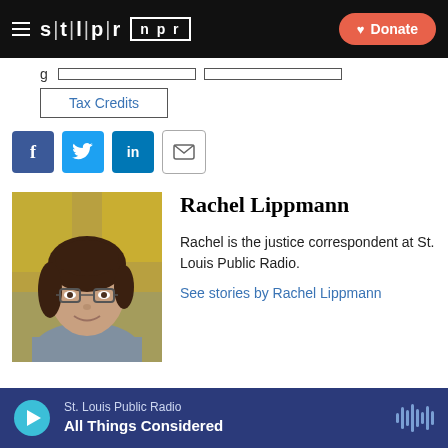STLPR NPR — Donate
g  [nav button]  [nav button]
Tax Credits
[Figure (other): Social sharing icons: Facebook, Twitter, LinkedIn, Email]
[Figure (photo): Headshot of Rachel Lippmann, woman with glasses and curly dark hair, wearing a gray shirt, outdoors with autumn foliage background]
Rachel Lippmann
Rachel is the justice correspondent at St. Louis Public Radio.
See stories by Rachel Lippmann
St. Louis Public Radio — All Things Considered